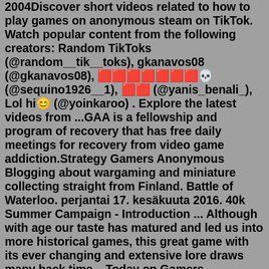2004Discover short videos related to how to play games on anonymous steam on TikTok. Watch popular content from the following creators: Random TikToks (@random__tik__toks), gkanavos08 (@gkanavos08), 🟥🟥🟥🟥🟥🟥🟥💀 (@sequino1926__1), 🟥🟥 (@yanis_benali_), Lol hi😊 (@yoinkaroo) . Explore the latest videos from ...GAA is a fellowship and program of recovery that has free daily meetings for recovery from video game addiction.Strategy Gamers Anonymous Blogging about wargaming and miniature collecting straight from Finland. Battle of Waterloo. perjantai 17. kesäkuuta 2016. 40k Summer Campaign - Introduction ... Although with age our taste has matured and led us into more historical games, this great game with its ever changing and extensive lore draws many back time ...Today on Gamers Anonymous, Dave brings his own rag tag crew together to review the Firefly Board Game and discuss the cult series that is Firefly. As the tag line says on the box, "Find a crew, find a job, keep flying." Can Dave's special guests Brandy and Jeremy